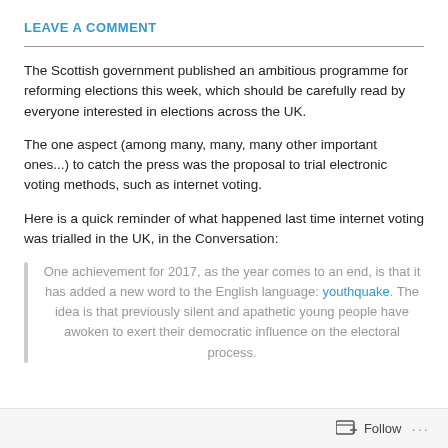LEAVE A COMMENT
The Scottish government published an ambitious programme for reforming elections this week, which should be carefully read by everyone interested in elections across the UK.
The one aspect (among many, many, many other important ones...) to catch the press was the proposal to trial electronic voting methods, such as internet voting.
Here is a quick reminder of what happened last time internet voting was trialled in the UK, in the Conversation:
One achievement for 2017, as the year comes to an end, is that it has added a new word to the English language: youthquake. The idea is that previously silent and apathetic young people have awoken to exert their democratic influence on the electoral process.
Follow ...